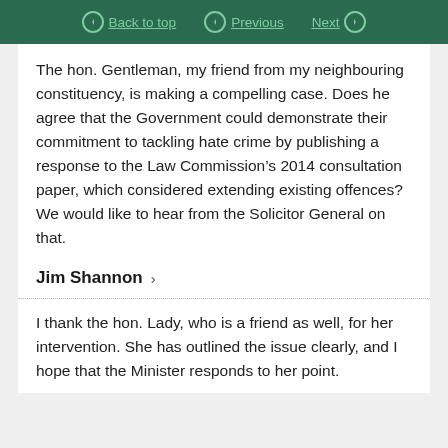Back to top | Previous | Next
The hon. Gentleman, my friend from my neighbouring constituency, is making a compelling case. Does he agree that the Government could demonstrate their commitment to tackling hate crime by publishing a response to the Law Commission’s 2014 consultation paper, which considered extending existing offences? We would like to hear from the Solicitor General on that.
Jim Shannon ›
I thank the hon. Lady, who is a friend as well, for her intervention. She has outlined the issue clearly, and I hope that the Minister responds to her point.